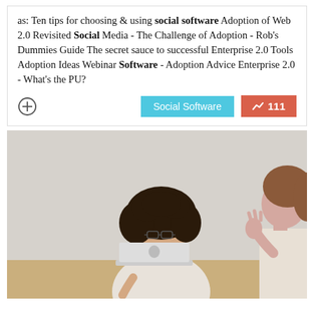as: Ten tips for choosing & using social software Adoption of Web 2.0 Revisited Social Media - The Challenge of Adoption - Rob's Dummies Guide The secret sauce to successful Enterprise 2.0 Tools Adoption Ideas Webinar Software - Adoption Advice Enterprise 2.0 - What's the PU?
[Figure (photo): Two women in a meeting room, one with curly hair and glasses laughing with a laptop in front of her, the other in background gesturing with her hand raised]